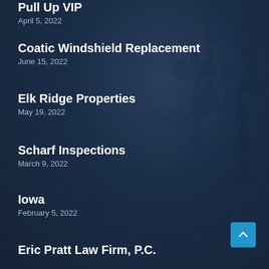Pull Up VIP
April 5, 2022
Coatic Windshield Replacement
June 15, 2022
Elk Ridge Properties
May 19, 2022
Scharf Inspections
March 9, 2022
Iowa
February 5, 2022
Eric Pratt Law Firm, P.C.